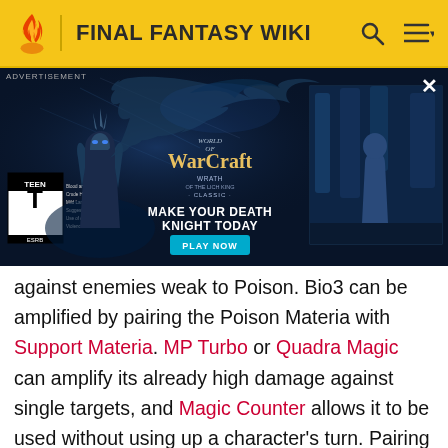FINAL FANTASY WIKI
[Figure (photo): World of Warcraft: Wrath of the Lich King Classic advertisement banner with a death knight and dragon imagery. 'MAKE YOUR DEATH KNIGHT TODAY' with 'PLAY NOW' button. TEEN ESRB rating shown.]
against enemies weak to Poison. Bio3 can be amplified by pairing the Poison Materia with Support Materia. MP Turbo or Quadra Magic can amplify its already high damage against single targets, and Magic Counter allows it to be used without using up a character's turn. Pairing it with MP Absorb also mitigates the high MP cost, and HP Absorb can grant greater endurance to the caster by healing them, taking advantage of its damage. All allows the spell to clear groups of enemies, though using Mega All will